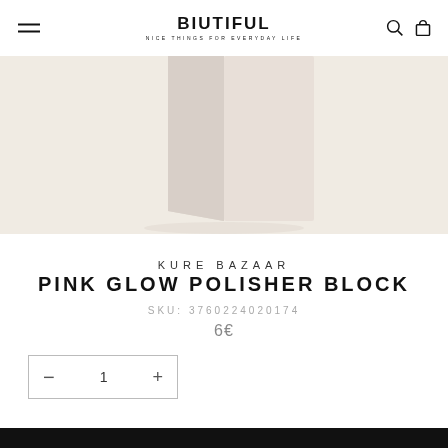BIUTIFUL — NICE THINGS FOR EVERYDAY LIFE
[Figure (photo): Pink/cream colored rectangular polisher block on a warm beige/off-white background]
KURE BAZAAR
PINK GLOW POLISHER BLOCK
SKU: 3760224020174
6€